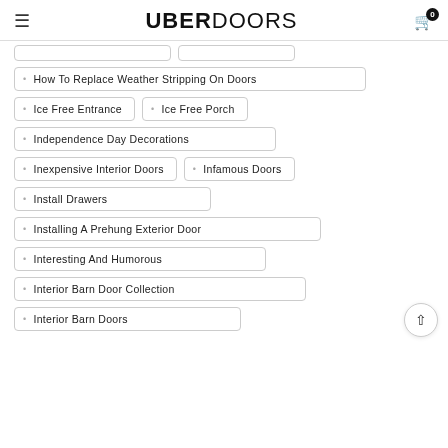UBERDOORS
How To Replace Weather Stripping On Doors
Ice Free Entrance
Ice Free Porch
Independence Day Decorations
Inexpensive Interior Doors
Infamous Doors
Install Drawers
Installing A Prehung Exterior Door
Interesting And Humorous
Interior Barn Door Collection
Interior Barn Doors